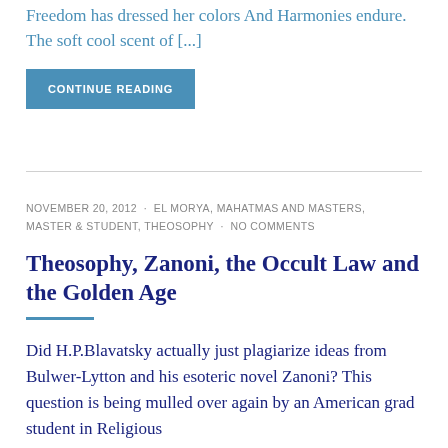Freedom has dressed her colors And Harmonies endure. The soft cool scent of [...]
CONTINUE READING
NOVEMBER 20, 2012 · EL MORYA, MAHATMAS AND MASTERS, MASTER & STUDENT, THEOSOPHY · NO COMMENTS
Theosophy, Zanoni, the Occult Law and the Golden Age
Did H.P.Blavatsky actually just plagiarize ideas from Bulwer-Lytton and his esoteric novel Zanoni? This question is being mulled over again by an American grad student in Religious